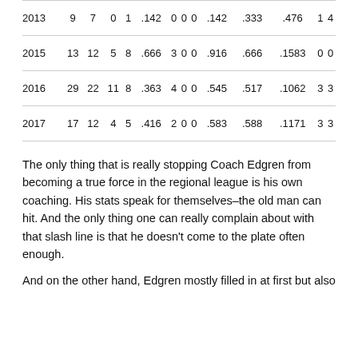| 2013 | 9 | 7 | 0 | 1 | .142 | 0 | 0 | 0 | .142 | .333 | .476 | 1 | 4 |
| 2015 | 13 | 12 | 5 | 8 | .666 | 3 | 0 | 0 | .916 | .666 | .1583 | 0 | 0 |
| 2016 | 29 | 22 | 11 | 8 | .363 | 4 | 0 | 0 | .545 | .517 | .1062 | 3 | 3 |
| 2017 | 17 | 12 | 4 | 5 | .416 | 2 | 0 | 0 | .583 | .588 | .1171 | 3 | 3 |
The only thing that is really stopping Coach Edgren from becoming a true force in the regional league is his own coaching. His stats speak for themselves–the old man can hit. And the only thing one can really complain about with that slash line is that he doesn't come to the plate often enough.
And on the other hand, Edgren mostly filled in at first but also